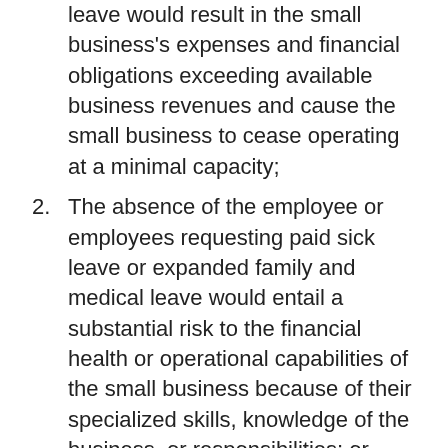leave would result in the small business's expenses and financial obligations exceeding available business revenues and cause the small business to cease operating at a minimal capacity;
2. The absence of the employee or employees requesting paid sick leave or expanded family and medical leave would entail a substantial risk to the financial health or operational capabilities of the small business because of their specialized skills, knowledge of the business, or responsibilities; or
3. There are not sufficient workers who would be able to perform